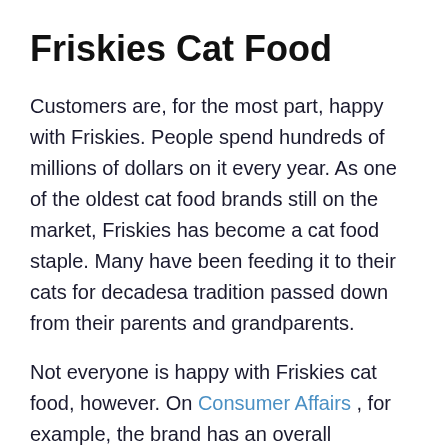Friskies Cat Food
Customers are, for the most part, happy with Friskies. People spend hundreds of millions of dollars on it every year. As one of the oldest cat food brands still on the market, Friskies has become a cat food staple. Many have been feeding it to their cats for decadesa tradition passed down from their parents and grandparents.
Not everyone is happy with Friskies cat food, however. On Consumer Affairs , for example, the brand has an overall satisfaction rating of just over 1 out of 5 stars. Complaints range from texture concerns to non-food objects found in cans to reports of illness.
Multiple customers have found pieces of plastic in cans of Friskies food. Between October and December of 2018,